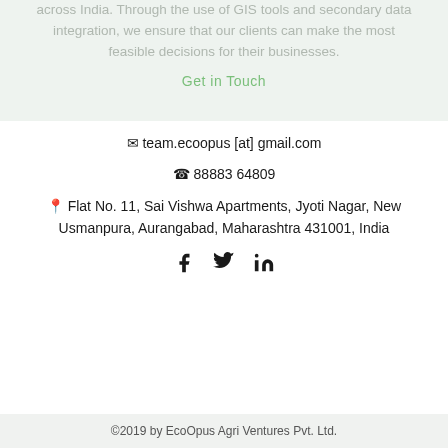across India. Through the use of GIS tools and secondary data integration, we ensure that our clients can make the most feasible decisions for their businesses.
Get in Touch
✉ team.ecoopus [at] gmail.com
☎ 88883 64809
Flat No. 11, Sai Vishwa Apartments, Jyoti Nagar, New Usmanpura, Aurangabad, Maharashtra 431001, India
[Figure (other): Social media icons: Facebook, Twitter, LinkedIn]
©2019 by EcoOpus Agri Ventures Pvt. Ltd.